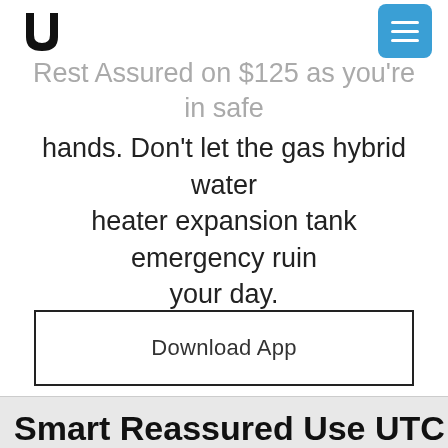U logo and navigation menu
Rest Assured on $125 as you're in safe hands. Don't let the gas hybrid water heater expansion tank emergency ruin your day.
Download App
Smart Reassured Use UTC...